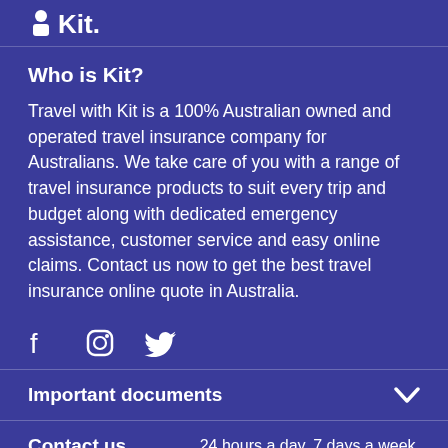Kit.
Who is Kit?
Travel with Kit is a 100% Australian owned and operated travel insurance company for Australians. We take care of you with a range of travel insurance products to suit every trip and budget along with dedicated emergency assistance, customer service and easy online claims. Contact us now to get the best travel insurance online quote in Australia.
[Figure (infographic): Social media icons: Facebook, Instagram, Twitter]
Important documents
Contact us
24 hours a day, 7 days a week.
OVERSEAS EMERGENCY